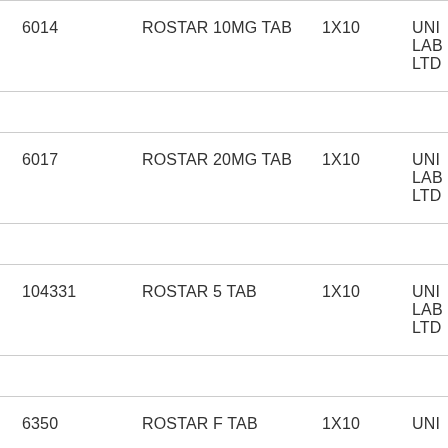| Code | Product | Pack | Manufacturer |
| --- | --- | --- | --- |
| 6014 | ROSTAR 10MG TAB | 1X10 | UNI LAB LTD |
| 6017 | ROSTAR 20MG TAB | 1X10 | UNI LAB LTD |
| 104331 | ROSTAR 5 TAB | 1X10 | UNI LAB LTD |
| 6350 | ROSTAR F TAB | 1X10 | UNI |